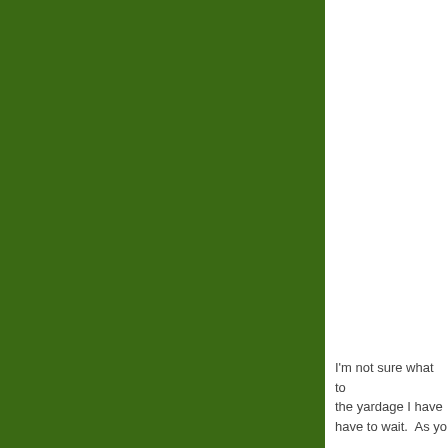[Figure (illustration): Large dark green rectangular area occupying the left portion of the page, spanning the full height.]
I'm not sure what to the yardage I have have to wait.  As yo